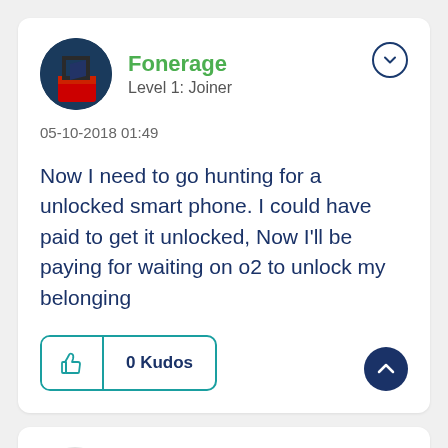Fonerage
Level 1: Joiner
05-10-2018 01:49
Now I need to go hunting for a unlocked smart phone. I could have paid to get it unlocked, Now I'll be paying for waiting on o2 to unlock my belonging
0 Kudos
jonsie
Level 94: Supreme